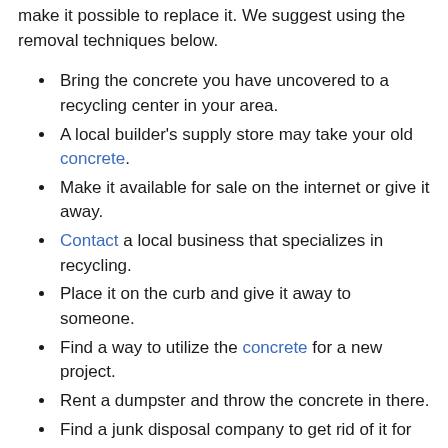make it possible to replace it. We suggest using the removal techniques below.
Bring the concrete you have uncovered to a recycling center in your area.
A local builder's supply store may take your old concrete.
Make it available for sale on the internet or give it away.
Contact a local business that specializes in recycling.
Place it on the curb and give it away to someone.
Find a way to utilize the concrete for a new project.
Rent a dumpster and throw the concrete in there.
Find a junk disposal company to get rid of it for you.